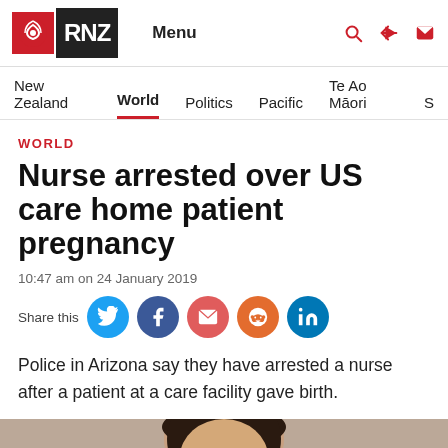RNZ Menu
New Zealand  World  Politics  Pacific  Te Ao Māori  S
WORLD
Nurse arrested over US care home patient pregnancy
10:47 am on 24 January 2019
Share this
Police in Arizona say they have arrested a nurse after a patient at a care facility gave birth.
[Figure (photo): Photograph of a person, partially visible, dark hair, cropped at bottom of page]